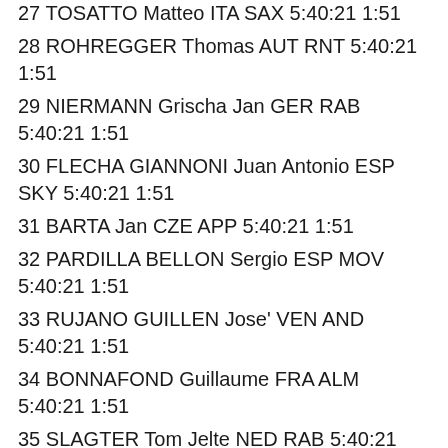27 TOSATTO Matteo ITA SAX 5:40:21 1:51
28 ROHREGGER Thomas AUT RNT 5:40:21 1:51
29 NIERMANN Grischa Jan GER RAB 5:40:21 1:51
30 FLECHA GIANNONI Juan Antonio ESP SKY 5:40:21 1:51
31 BARTA Jan CZE APP 5:40:21 1:51
32 PARDILLA BELLON Sergio ESP MOV 5:40:21 1:51
33 RUJANO GUILLEN Jose' VEN AND 5:40:21 1:51
34 BONNAFOND Guillaume FRA ALM 5:40:21 1:51
35 SLAGTER Tom Jelte NED RAB 5:40:21 1:51
36 CATALDO Dario ITA OPQ 5:40:21 1:51
37 GASPAROTTO Enrico ITA AST 5:40:21 1:51
38 MORENO FERNANDEZ Daniel ESP KAT 5:40:21 1:51
39 GUSTOV Volodymir UKR SAX 5:40:21 1:51
40 DE GREEF Francis BEL LTB 5:40:21 1:51
41 HANSEN Adam AUS LTB 5:40:21 1:51